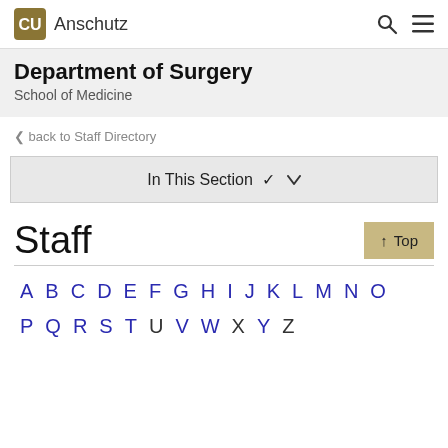CU Anschutz
Department of Surgery
School of Medicine
< back to Staff Directory
In This Section ∨
Staff
↑ Top
A B C D E F G H I J K L M N O
P Q R S T U V W X Y Z